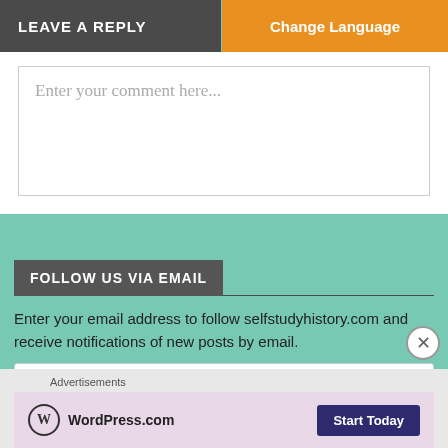LEAVE A REPLY
Change Language
Enter your comment here...
FOLLOW US VIA EMAIL
Enter your email address to follow selfstudyhistory.com and receive notifications of new posts by email.
Email Address
Advertisements
[Figure (logo): WordPress.com logo with Start Today button in a pink/lavender advertisement banner]